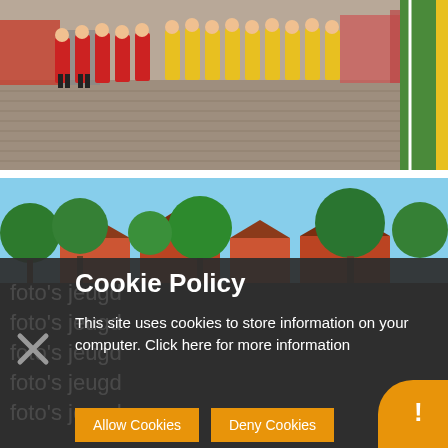[Figure (photo): Group of youth soccer players in red and yellow/black jerseys standing on a cobblestone plaza, with buildings in the background]
[Figure (photo): Partial view of a green soccer field with white line marking, yellow post visible on the right edge]
[Figure (photo): Outdoor scene with green trees and red-roofed houses under a blue sky]
Cookie Policy
This site uses cookies to store information on your computer. Click here for more information
Allow Cookies
Deny Cookies